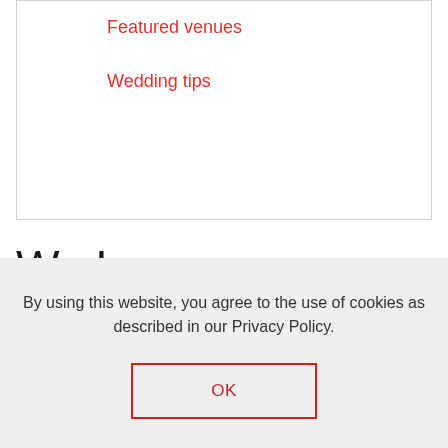Featured venues
Wedding tips
We Love
By using this website, you agree to the use of cookies as described in our Privacy Policy.
OK